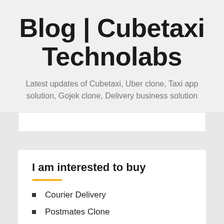Blog | Cubetaxi Technolabs
Latest updates of Cubetaxi, Uber clone, Taxi app solution, Gojek clone, Delivery business solution
I am interested to buy
Courier Delivery
Postmates Clone
Food Delivery